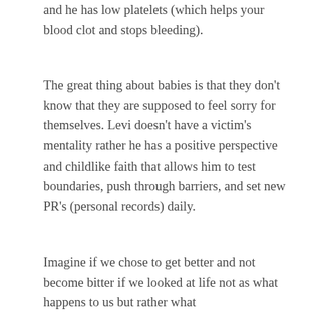and he has low platelets (which helps your blood clot and stops bleeding).
The great thing about babies is that they don't know that they are supposed to feel sorry for themselves. Levi doesn't have a victim's mentality rather he has a positive perspective and childlike faith that allows him to test boundaries, push through barriers, and set new PR's (personal records) daily.
Imagine if we chose to get better and not become bitter if we looked at life not as what happens to us but rather what